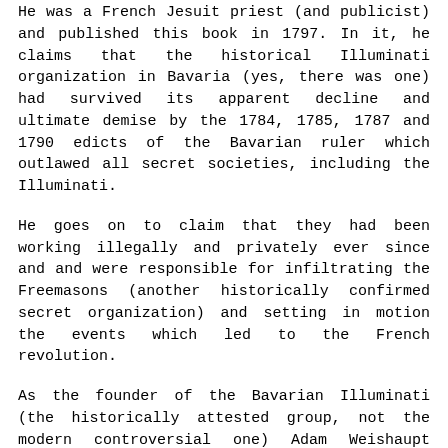He was a French Jesuit priest (and publicist) and published this book in 1797. In it, he claims that the historical Illuminati organization in Bavaria (yes, there was one) had survived its apparent decline and ultimate demise by the 1784, 1785, 1787 and 1790 edicts of the Bavarian ruler which outlawed all secret societies, including the Illuminati.
He goes on to claim that they had been working illegally and privately ever since and and were responsible for infiltrating the Freemasons (another historically confirmed secret organization) and setting in motion the events which led to the French revolution.
As the founder of the Bavarian Illuminati (the historically attested group, not the modern controversial one) Adam Weishaupt created the organization to battle abuses of power by state actors and most importantly to rid the world of superstition and religious influence over public life, in short to promote reason and science, Barruel's